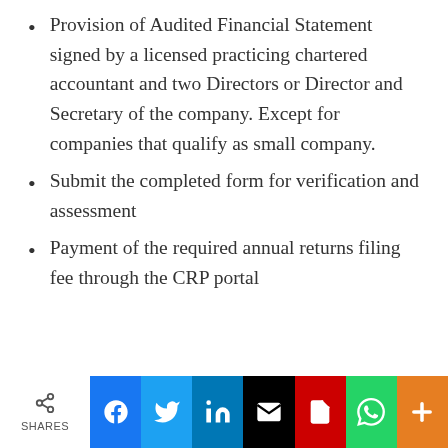Provision of Audited Financial Statement signed by a licensed practicing chartered accountant and two Directors or Director and Secretary of the company. Except for companies that qualify as small company.
Submit the completed form for verification and assessment
Payment of the required annual returns filing fee through the CRP portal
SHARES | Facebook | Twitter | LinkedIn | Email | PDF | WhatsApp | +